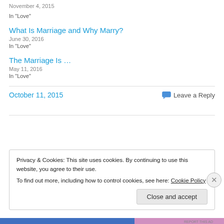November 4, 2015
In "Love"
What Is Marriage and Why Marry?
June 30, 2016
In "Love"
The Marriage Is …
May 11, 2016
In "Love"
October 11, 2015
Leave a Reply
Privacy & Cookies: This site uses cookies. By continuing to use this website, you agree to their use. To find out more, including how to control cookies, see here: Cookie Policy
Close and accept